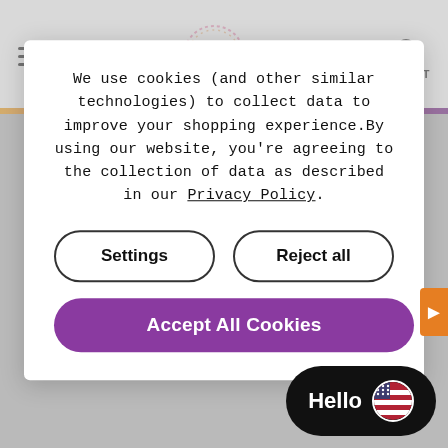[Figure (screenshot): E-commerce website header with hamburger menu on left, decorative circular logo in center, and basket icon on right, with gradient bar below]
We use cookies (and other similar technologies) to collect data to improve your shopping experience.By using our website, you're agreeing to the collection of data as described in our Privacy Policy.
[Figure (screenshot): Cookie consent modal with Settings and Reject all outline buttons, and a purple Accept All Cookies button]
Hello